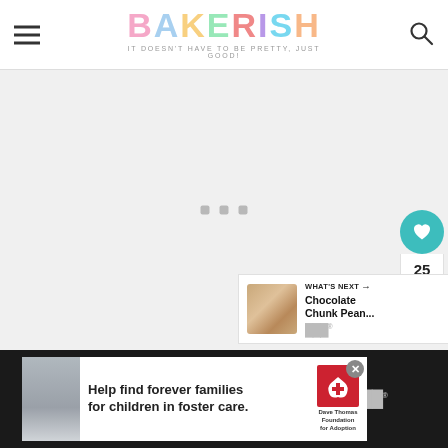BAKERISH — IT DOESN'T HAVE TO BE PRETTY, JUST GOOD!
[Figure (screenshot): Loading/blank content area with three small grey square loading indicator dots centered in a light grey background area]
[Figure (infographic): Side action buttons: teal heart/like button, count '25', and white share button on right side]
[Figure (infographic): What's Next panel showing thumbnail of Chocolate Chunk Pean... recipe with label and arrow]
[Figure (screenshot): Advertisement banner: Help find forever families for children in foster care. Dave Thomas Foundation for Adoption logo.]